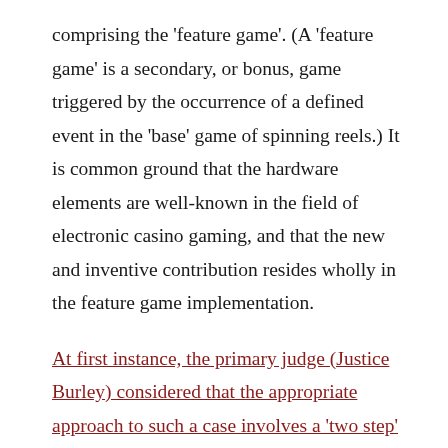comprising the 'feature game'.  (A 'feature game' is a secondary, or bonus, game triggered by the occurrence of a defined event in the 'base' game of spinning reels.)  It is common ground that the hardware elements are well-known in the field of electronic casino gaming, and that the new and inventive contribution resides wholly in the feature game implementation.
At first instance, the primary judge (Justice Burley) considered that the appropriate approach to such a case involves a 'two step' analysis.  The first step is to construe the patent specification, from the perspective of the person skilled in the relevant art,